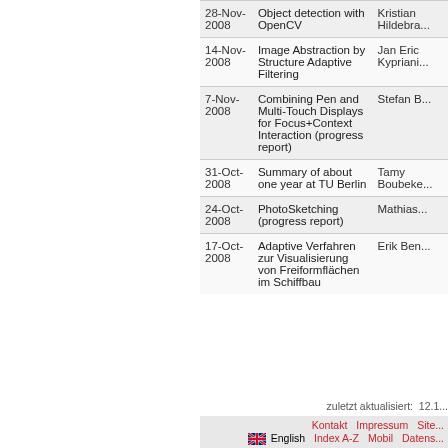| Date | Title | Author |
| --- | --- | --- |
| 28-Nov-2008 | Object detection with OpenCV | Kristian Hildebra... |
| 14-Nov-2008 | Image Abstraction by Structure Adaptive Filtering | Jan Eric Kypriani... |
| 7-Nov-2008 | Combining Pen and Multi-Touch Displays for Focus+Context Interaction (progress report) | Stefan B... |
| 31-Oct-2008 | Summary of about one year at TU Berlin | Tamy Boubeke... |
| 24-Oct-2008 | PhotoSketching (progress report) | Mathias... |
| 17-Oct-2008 | Adaptive Verfahren zur Visualisierung von Freiformflächen im Schiffbau | Erik Ben... |
zuletzt aktualisiert:  12.1...
Seite drucken Verw...
Kontakt  Impressum  Site...  English  Index A-Z  Mobil  Datens...